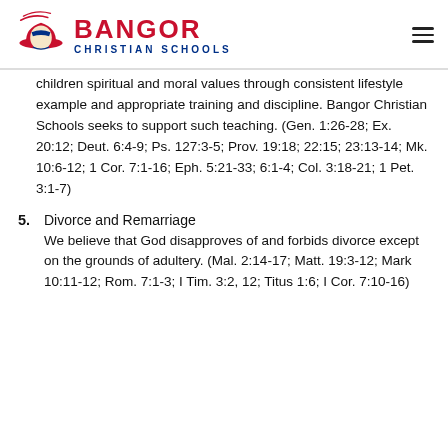Bangor Christian Schools
children spiritual and moral values through consistent lifestyle example and appropriate training and discipline. Bangor Christian Schools seeks to support such teaching. (Gen. 1:26-28; Ex. 20:12; Deut. 6:4-9; Ps. 127:3-5; Prov. 19:18; 22:15; 23:13-14; Mk. 10:6-12; 1 Cor. 7:1-16; Eph. 5:21-33; 6:1-4; Col. 3:18-21; 1 Pet. 3:1-7)
5. Divorce and Remarriage
We believe that God disapproves of and forbids divorce except on the grounds of adultery. (Mal. 2:14-17; Matt. 19:3-12; Mark 10:11-12; Rom. 7:1-3; I Tim. 3:2, 12; Titus 1:6; I Cor. 7:10-16)